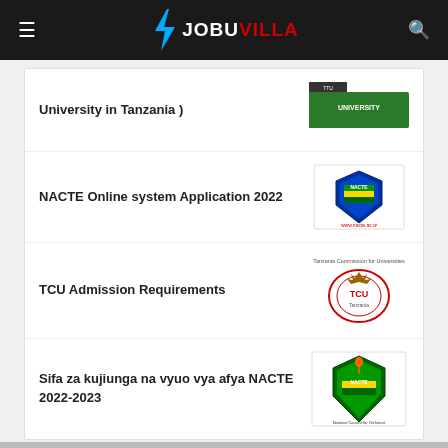JOBUVILLA
University in Tanzania )
NACTE Online system Application 2022
TCU Admission Requirements
Sifa za kujiunga na vyuo vya afya NACTE 2022-2023